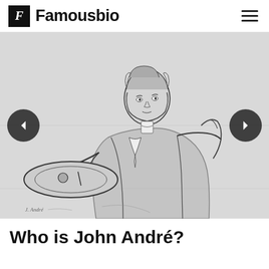Famousbio
[Figure (illustration): A black and white sketch/drawing of John André, a young man in 18th century clothing, reclining with one arm resting on a round table, holding a pen or quill. He wears a ruffled shirt and coat. Navigation arrows appear on either side of the image.]
Who is John André?